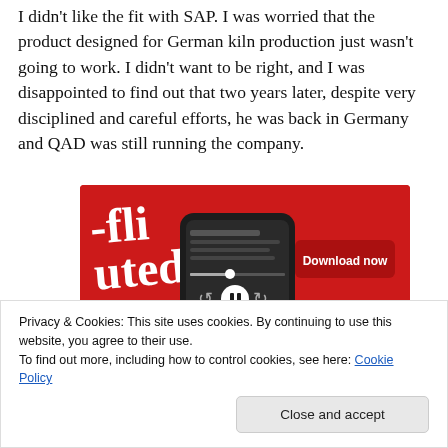I didn't like the fit with SAP. I was worried that the product designed for German kiln production just wasn't going to work. I didn't want to be right, and I was disappointed to find out that two years later, despite very disciplined and careful efforts, he was back in Germany and QAD was still running the company.
[Figure (screenshot): Advertisement banner showing a smartphone with a podcast app on a red background. A 'Download now' button is visible on the right side.]
Privacy & Cookies: This site uses cookies. By continuing to use this website, you agree to their use.
To find out more, including how to control cookies, see here: Cookie Policy
Close and accept